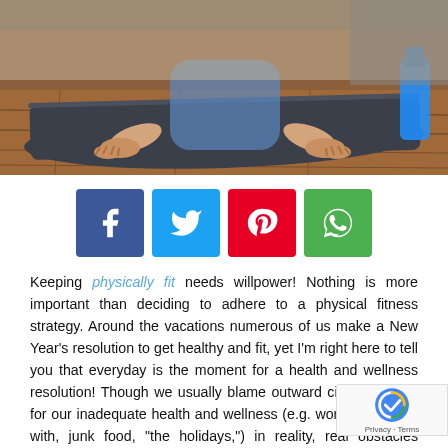[Figure (photo): Person doing a yoga or push-up pose on a dark exercise mat on a wooden floor, with a blue water bottle in the background.]
[Figure (infographic): Social media share buttons: Facebook (blue), Twitter (light blue), Pinterest (red), WhatsApp (green)]
Keeping physically fit needs willpower! Nothing is more important than deciding to adhere to a physical fitness strategy. Around the vacations numerous of us make a New Year's resolution to get healthy and fit, yet I'm right here to tell you that everyday is the moment for a health and wellness resolution! Though we usually blame outward circumstances for our inadequate health and wellness (e.g. workplace deals with, junk food, "the holidays,") in reality, real obstacles preventing us from reaching our fitness goals is our own laziness.